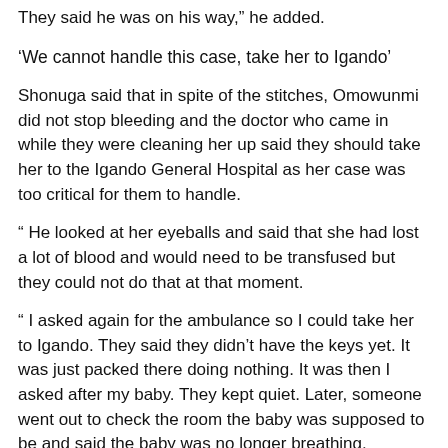They said he was on his way," he added.
'We cannot handle this case, take her to Igando'
Shonuga said that in spite of the stitches, Omowunmi did not stop bleeding and the doctor who came in while they were cleaning her up said they should take her to the Igando General Hospital as her case was too critical for them to handle.
" He looked at her eyeballs and said that she had lost a lot of blood and would need to be transfused but they could not do that at that moment.
" I asked again for the ambulance so I could take her to Igando. They said they didn't have the keys yet. It was just packed there doing nothing. It was then I asked after my baby. They kept quiet. Later, someone went out to check the room the baby was supposed to be and said the baby was no longer breathing.
“It was obvious that they abandoned the baby. I went in to